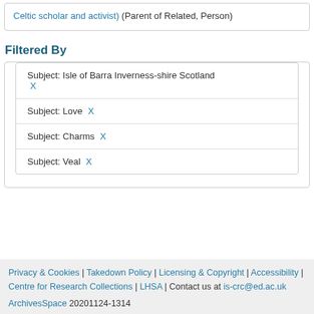Celtic scholar and activist) (Parent of Related, Person)
Filtered By
Subject: Isle of Barra Inverness-shire Scotland X
Subject: Love X
Subject: Charms X
Subject: Veal X
Privacy & Cookies | Takedown Policy | Licensing & Copyright | Accessibility | Centre for Research Collections | LHSA | Contact us at is-crc@ed.ac.uk
ArchivesSpace 20201124-1314